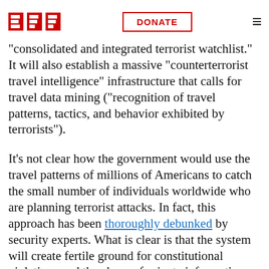EFF | DONATE
commercial air carriers to hand over your private information and compare it with a "consolidated and integrated terrorist watchlist." It will also establish a massive "counterterrorist travel intelligence" infrastructure that calls for travel data mining ("recognition of travel patterns, tactics, and behavior exhibited by terrorists").
It's not clear how the government would use the travel patterns of millions of Americans to catch the small number of individuals worldwide who are planning terrorist attacks. In fact, this approach has been thoroughly debunked by security experts. What is clear is that the system will create fertile ground for constitutional violations and the abuse of private information. The latest Privacy Act notice on Secure Flight shows that the Transportation Security Administration (TSA) still doesn't have a